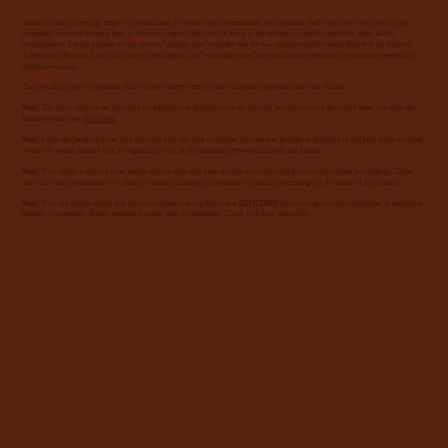conduct of the proceeding, employ a professional, or obtain legal representation, the arbitrator shall require the other party to pay reasonable costs and attorney fees, or otherwise require that costs be borne as the arbitrator considers equitable under all the circumstances. For the purpose of this section, 'attorney fees' includes fees for law students certified under Rule 9 of the Rules of Admission to Practice Law in the State of Washington, and 'reasonable costs' may include compensation for witnesses needed for arbitration or trial.
The prevailing party in litigation shall recover attorney fees and other litigation expenses under this section.
Note: The above attorney fee provision for arbitration is different from the attorney fees provision in the model lease, and from the landlord-tenant law. See below.
Note: Under the landlord-tenant law, the court may also look at whether the case was brought or defended in bad faith when deciding whether to award attorney fees in litigation (as well as in arbitration) between landlords and tenants.
Note: Your county's superior court and/or district court may have specific court rules that govern small claims proceedings. These court rules take precedence over other provisions pertaining to arbitration or judicial proceedings, to the extent of any conflict.
Note: Your city and/or county may have an ordinance or regulation that REQUIRES the use of agreed-upon mediation, or mediation through a community dispute resolution center, prior to arbitration. Check with local authorities.